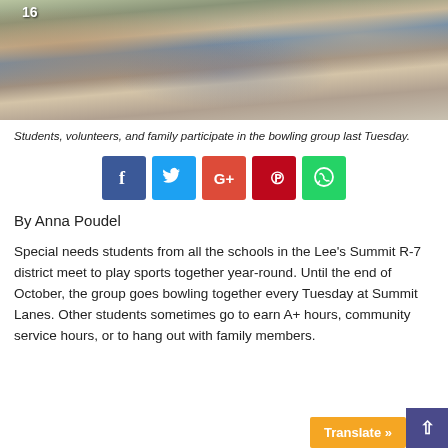[Figure (photo): Students, volunteers, and family at a bowling alley, seen from behind, standing and sitting around tables.]
Students, volunteers, and family participate in the bowling group last Tuesday.
[Figure (infographic): Social media share buttons: Facebook (blue), Twitter (light blue), Google+ (red), Pinterest (dark red), WhatsApp (green)]
By Anna Poudel
Special needs students from all the schools in the Lee's Summit R-7 district meet to play sports together year-round. Until the end of October, the group goes bowling together every Tuesday at Summit Lanes. Other students sometimes go to earn A+ hours, community service hours, or to hang out with family members.